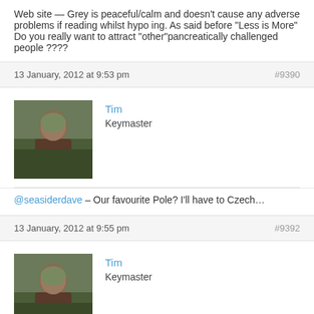Web site — Grey is peaceful/calm and doesn't cause any adverse problems if reading whilst hypo ing. As said before "Less is More" Do you really want to attract "other"pancreatically challenged people ????
13 January, 2012 at 9:53 pm #9390
[Figure (photo): Avatar photo of user Tim, a person standing outdoors among trees wearing a dark shirt]
Tim Keymaster
@seasiderdave – Our favourite Pole? I'll have to Czech...
13 January, 2012 at 9:55 pm #9392
[Figure (photo): Avatar photo of user Tim, same person standing outdoors among trees wearing a dark shirt]
Tim Keymaster